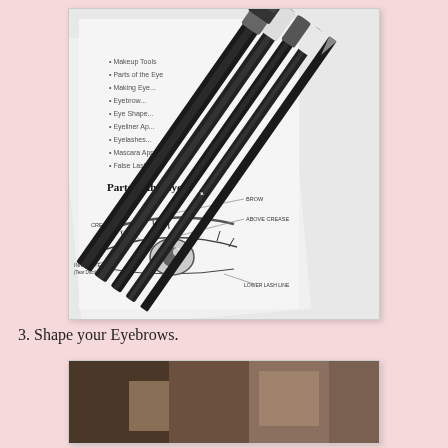[Figure (photo): Black and white photo of makeup brushes laid diagonally across a makeup textbook/worksheet showing a diagram of 'Parts of the Eye' with labeled anatomical parts including brow bone, above crease, crease, inner eye, lower lash line, etc. A table of contents is partially visible listing topics such as Parts of Eye, Making Eye, Eyebrows, Eye Shape, Eyeliner Application, Eyelashes, Mascara Application, False Lashes.]
3. Shape your Eyebrows.
[Figure (photo): Partial color photo at the bottom of the page showing what appears to be a person, cropped — only the top portion is visible.]